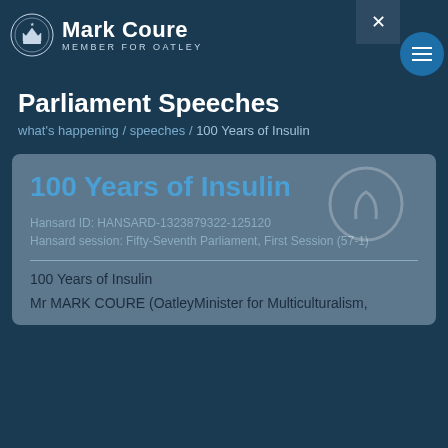Mark Coure – Member for Oatley
Parliament Speeches
what's happening / speeches / 100 Years of Insulin
100 Years of Insulin
Hansard ID: HANSARD-1323879322-125120
Hansard session: Fifty-Seventh Parliament, First Session (57-1)
100 Years of Insulin
Mr MARK COURE (OatleyMinister for Multiculturalism,